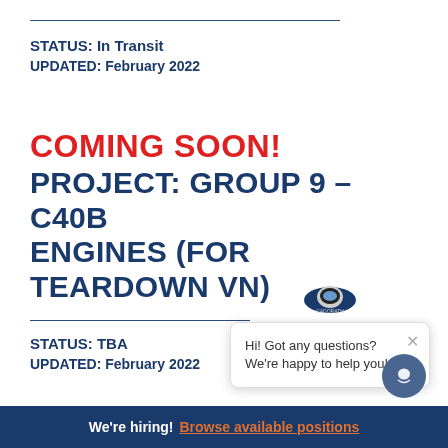STATUS: In Transit
UPDATED: February 2022
COMING SOON!
PROJECT: GROUP 9 – C40B ENGINES (FOR TEARDOWN VN)
STATUS: TBA
UPDATED: February 2022
Hi! Got any questions? We're happy to help you!
We're hiring! Browse available positions